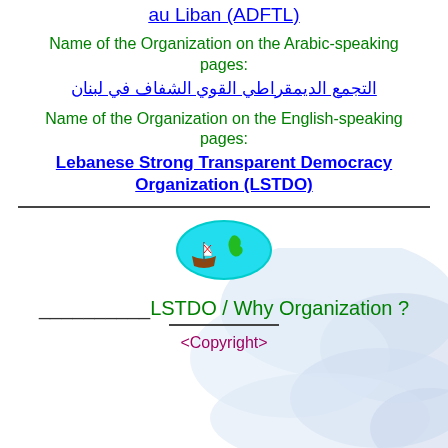au Liban (ADFTL)
Name of the Organization on the Arabic-speaking pages:
التجمع الديمقراطي القوي الشفاف في لبنان
Name of the Organization on the English-speaking pages:
Lebanese Strong Transparent Democracy Organization (LSTDO)
[Figure (logo): Oval logo with cyan/turquoise background showing a boat and green Lebanon map shape]
________LSTDO / Why Organization ?
___________
<Copyright>